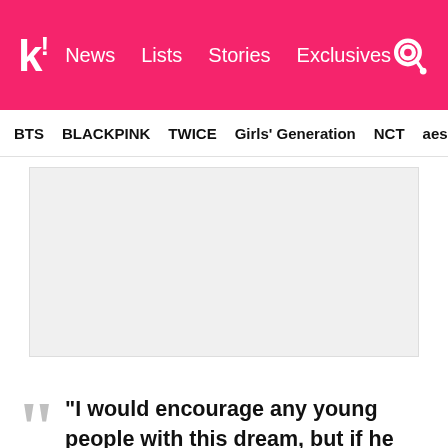k! News Lists Stories Exclusives
BTS BLACKPINK TWICE Girls' Generation NCT aespa
[Figure (other): Gray placeholder advertisement box]
“I would encourage any young people with this dream, but if he were my son? I wouldn’t encourage it.”